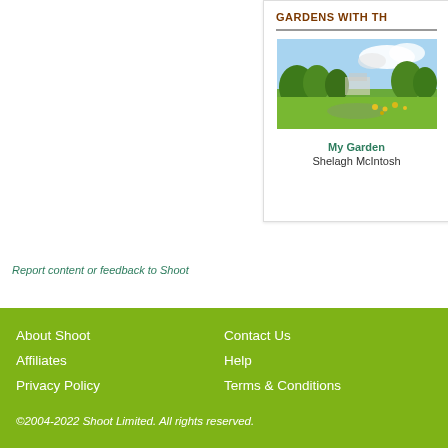GARDENS WITH TH
[Figure (photo): Garden photo showing a green lawn with trees and landscaping under a partly cloudy sky]
My Garden
Shelagh McIntosh
Report content or feedback to Shoot
About Shoot  Contact Us  Affiliates  Help  Privacy Policy  Terms & Conditions  ©2004-2022 Shoot Limited. All rights reserved.